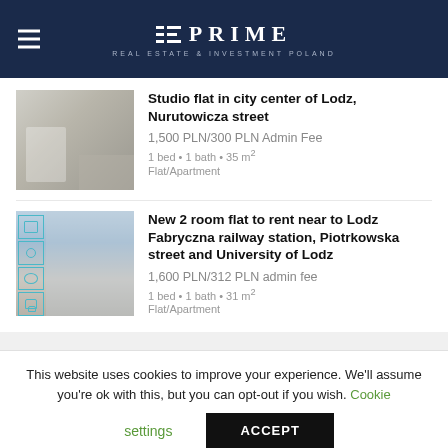PRIME REAL ESTATE & INVESTMENT POLAND
Studio flat in city center of Lodz, Nurutowicza street
1,500 PLN/300 PLN Admin Fee
1 bed • 1 bath • 35 m²
Flat/Apartment
New 2 room flat to rent near to Lodz Fabryczna railway station, Piotrkowska street and University of Lodz
1,600 PLN/312 PLN admin fee
1 bed • 1 bath • 31 m²
Flat/Apartment
This website uses cookies to improve your experience. We'll assume you're ok with this, but you can opt-out if you wish. Cookie settings ACCEPT